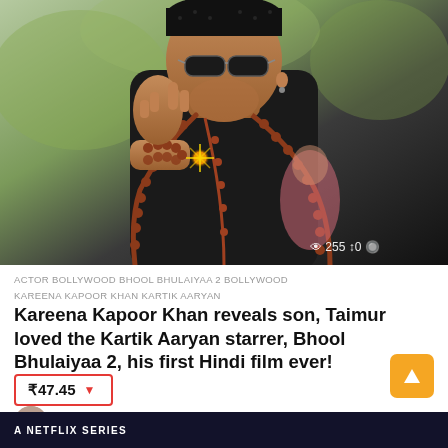[Figure (photo): A man wearing sunglasses, a black bandana, black outfit, and multiple rudraksha bead necklaces, making a gesture with his hand raised. A starburst/sparkle graphic is visible near his hand.]
255  0
ACTOR  BOLLYWOOD  BHOOL BHULAIYAA 2  BOLLYWOOD  KAREENA KAPOOR KHAN  KARTIK AARYAN
Kareena Kapoor Khan reveals son, Taimur loved the Kartik Aaryan starrer, Bhool Bhulaiyaa 2, his first Hindi film ever!
₹47.45 ▼
by Varsha Mehata
A NETFLIX SERIES